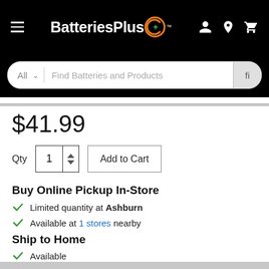[Figure (screenshot): BatteriesPlus website header with hamburger menu, logo, and icons for account, location, and cart on black background]
[Figure (screenshot): Search bar with 'All' dropdown and 'Find Batteries and Products' placeholder text, with search button]
$41.99
Qty 1 Add to Cart
Buy Online Pickup In-Store
Limited quantity at Ashburn
Available at 1 stores nearby
Ship to Home
Available